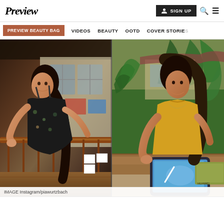Preview | SIGN UP
PREVIEW BEAUTY BAG | VIDEOS | BEAUTY | OOTD | COVER STORIES
[Figure (photo): Two-panel photo: left panel shows a woman in a black floral dress leaning on a wooden railing inside a home with rustic decor; right panel shows a woman in a yellow outfit working on a tablet with a Huawei laptop nearby, seated outdoors surrounded by tropical plants.]
IMAGE Instagram/piawurtzbach